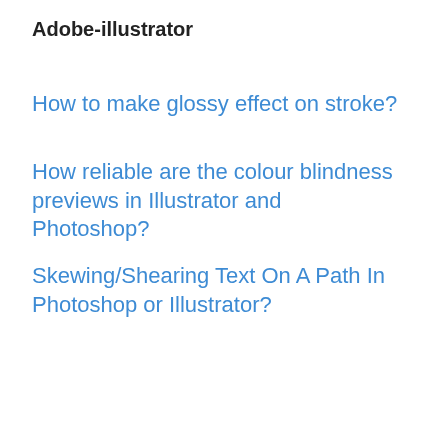Adobe-illustrator
How to make glossy effect on stroke?
How reliable are the colour blindness previews in Illustrator and Photoshop?
Skewing/Shearing Text On A Path In Photoshop or Illustrator?